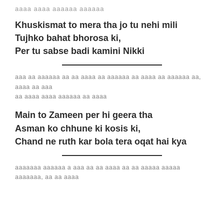aaaa aaaa aaaaaa aaaaaa
Khuskismat to mera tha jo tu nehi mili
Tujhko bahat bhorosa ki,
Per tu sabse badi kamini Nikki
aaa aa aaaaaa aa aa aaaa aa aaaaaa aa aaaa aa aaaaaa aa, aaaa aa aaa aa aaaa aaaa aaaaaa aa aaaa
Main to Zameen per hi geera tha
Asman ko chhune ki kosis ki,
Chand ne ruth kar bola tera oqat hai kya
aaaaaaa aaaaaa a aaa aa aa aaaa aa aa aaaaa aaaaa aaaaaaa, aa aa aaaa